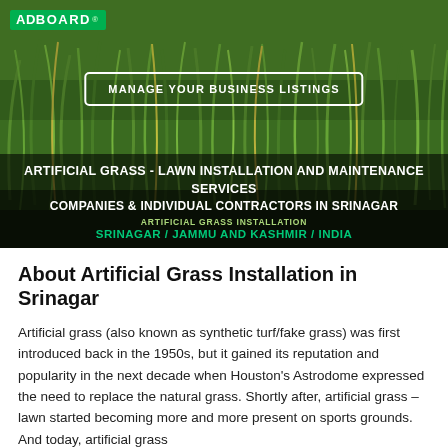[Figure (photo): Hero banner showing close-up of artificial/synthetic grass with green blades on dark background. Contains ADBOARD logo, MANAGE YOUR BUSINESS LISTINGS button, service title text, and location breadcrumb.]
About Artificial Grass Installation in Srinagar
Artificial grass (also known as synthetic turf/fake grass) was first introduced back in the 1950s, but it gained its reputation and popularity in the next decade when Houston's Astrodome expressed the need to replace the natural grass. Shortly after, artificial grass – lawn started becoming more and more present on sports grounds. And today, artificial grass